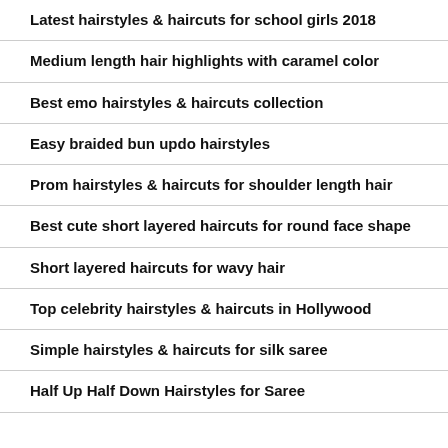Latest hairstyles & haircuts for school girls 2018
Medium length hair highlights with caramel color
Best emo hairstyles & haircuts collection
Easy braided bun updo hairstyles
Prom hairstyles & haircuts for shoulder length hair
Best cute short layered haircuts for round face shape
Short layered haircuts for wavy hair
Top celebrity hairstyles & haircuts in Hollywood
Simple hairstyles & haircuts for silk saree
Half Up Half Down Hairstyles for Saree